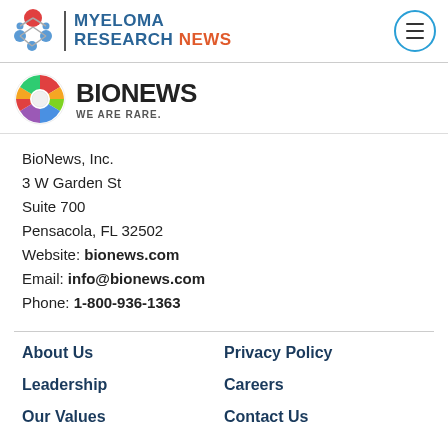MYELOMA RESEARCH NEWS
[Figure (logo): BioNews logo with colorful circular icon and text 'BIONEWS WE ARE RARE.']
BioNews, Inc.
3 W Garden St
Suite 700
Pensacola, FL 32502
Website: bionews.com
Email: info@bionews.com
Phone: 1-800-936-1363
About Us
Privacy Policy
Leadership
Careers
Our Values
Contact Us